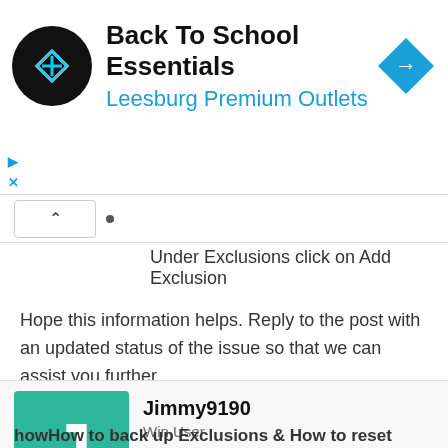[Figure (screenshot): Advertisement banner for 'Back To School Essentials' at Leesburg Premium Outlets with logo and navigation icon]
Under Exclusions click on Add Exclusion
Hope this information helps. Reply to the post with an updated status of the issue so that we can assist you further.
Jun 23, 2022
Jimmy9190
Win User
howHow to back up Exclusions & How to reset Defender